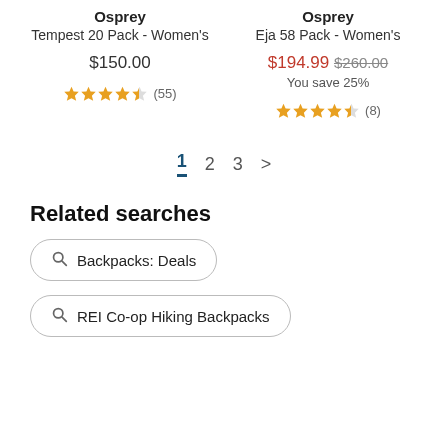Osprey Tempest 20 Pack - Women's
$150.00
★★★★☆ (55)
Osprey Eja 58 Pack - Women's
$194.99 $260.00 You save 25%
★★★★☆ (8)
1 2 3 >
Related searches
Backpacks: Deals
REI Co-op Hiking Backpacks